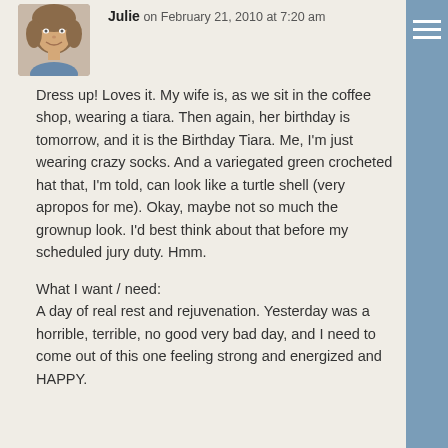Julie on February 21, 2010 at 7:20 am
[Figure (photo): Avatar photo of a woman with short hair, smiling]
Dress up! Loves it. My wife is, as we sit in the coffee shop, wearing a tiara. Then again, her birthday is tomorrow, and it is the Birthday Tiara. Me, I'm just wearing crazy socks. And a variegated green crocheted hat that, I'm told, can look like a turtle shell (very apropos for me). Okay, maybe not so much the grownup look. I'd best think about that before my scheduled jury duty. Hmm.
What I want / need:
A day of real rest and rejuvenation. Yesterday was a horrible, terrible, no good very bad day, and I need to come out of this one feeling strong and energized and HAPPY.